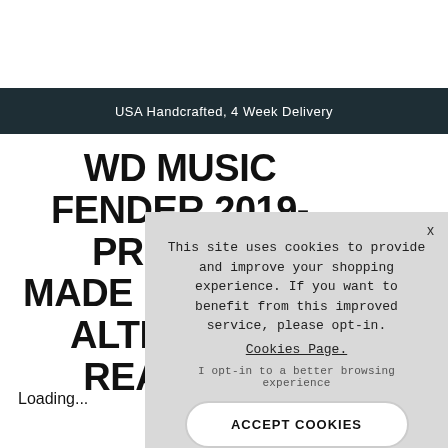USA Handcrafted, 4 Week Delivery
WD MUSIC FENDER 2019-PRESENT MADE IN MEXICO ALTERNATE REALITY E... W...
This site uses cookies to provide and improve your shopping experience. If you want to benefit from this improved service, please opt-in. Cookies Page.
I opt-in to a better browsing experience
ACCEPT COOKIES
Loading...